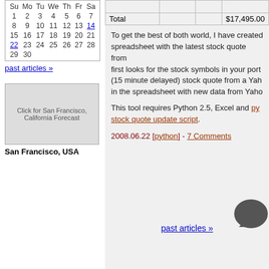| Su | Mo | Tu | We | Th | Fr | Sa |
| --- | --- | --- | --- | --- | --- | --- |
| 1 | 2 | 3 | 4 | 5 | 6 | 7 |
| 8 | 9 | 10 | 11 | 12 | 13 | 14 |
| 15 | 16 | 17 | 18 | 19 | 20 | 21 |
| 22 | 23 | 24 | 25 | 26 | 27 | 28 |
| 29 | 30 |  |  |  |  |  |
past articles »
[Figure (other): Click for San Francisco, California Forecast weather widget]
San Francisco, USA
|  |  |  |  |  |
| --- | --- | --- | --- | --- |
| Total |  |  |  | $17,495.00 |
To get the best of both world, I have created a spreadsheet with the latest stock quote from first looks for the stock symbols in your port (15 minute delayed) stock quote from a Yah in the spreadsheet with new data from Yaho
This tool requires Python 2.5, Excel and py stock quote update script.
2008.06.22 [python] - 7 Comments
past articles »